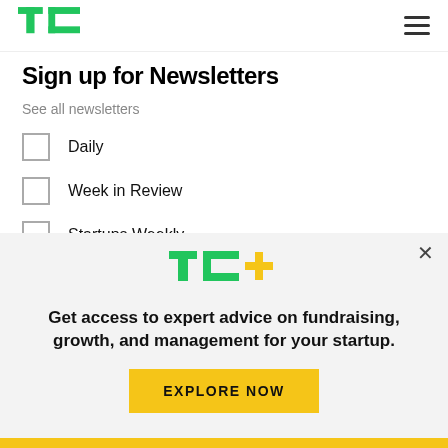TechCrunch logo and navigation
Sign up for Newsletters
See all newsletters
Daily
Week in Review
Startups Weekly
Event Updates
[Figure (logo): TechCrunch TC+ logo in green with a yellow plus sign, inside a promotional modal]
Get access to expert advice on fundraising, growth, and management for your startup.
EXPLORE NOW